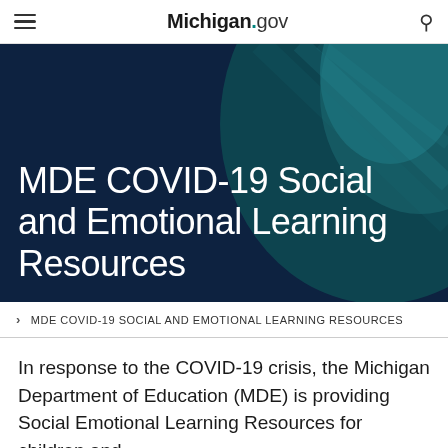Michigan.gov
MDE COVID-19 Social and Emotional Learning Resources
MDE COVID-19 Social and Emotional Learning Resources
In response to the COVID-19 crisis, the Michigan Department of Education (MDE) is providing Social Emotional Learning Resources for children and